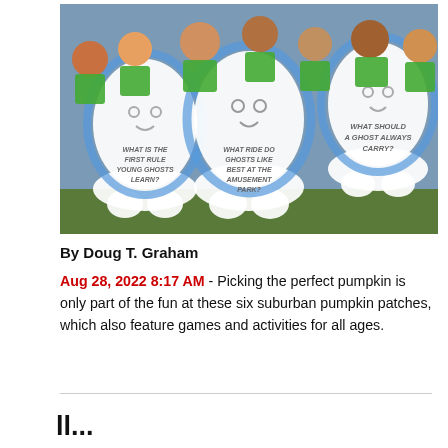[Figure (photo): Children in green vests peeking behind large white ghost cutout signs with text on them at a Halloween pumpkin patch. The ghosts have text reading 'WHAT IS THE FIRST RULE YOUNG GHOSTS LEARN?', 'WHAT RIDE DO GHOSTS LIKE BEST AT THE AMUSEMENT PARK?', and 'WHAT SHOULD A GHOST ALWAYS CARRY?']
By Doug T. Graham
Aug 28, 2022 8:17 AM - Picking the perfect pumpkin is only part of the fun at these six suburban pumpkin patches, which also feature games and activities for all ages.
ll...